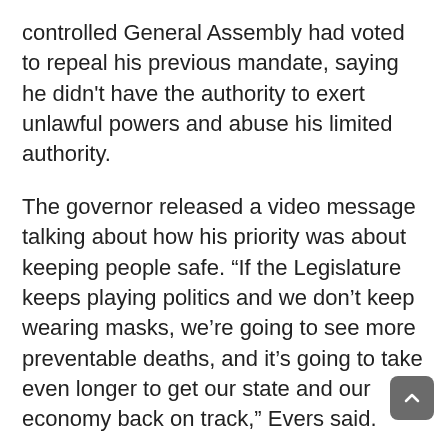controlled General Assembly had voted to repeal his previous mandate, saying he didn't have the authority to exert unlawful powers and abuse his limited authority.
The governor released a video message talking about how his priority was about keeping people safe. “If the Legislature keeps playing politics and we don’t keep wearing masks, we’re going to see more preventable deaths, and it’s going to take even longer to get our state and our economy back on track,” Evers said.
GOP members argued that Evers could not issue unlawful orders, such as requiring masks in private businesses, beyond his 60-day emergency powers.